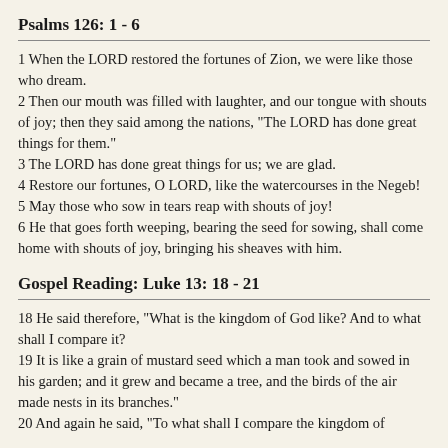Psalms 126: 1 - 6
1 When the LORD restored the fortunes of Zion, we were like those who dream.
2 Then our mouth was filled with laughter, and our tongue with shouts of joy; then they said among the nations, "The LORD has done great things for them."
3 The LORD has done great things for us; we are glad.
4 Restore our fortunes, O LORD, like the watercourses in the Negeb!
5 May those who sow in tears reap with shouts of joy!
6 He that goes forth weeping, bearing the seed for sowing, shall come home with shouts of joy, bringing his sheaves with him.
Gospel Reading: Luke 13: 18 - 21
18 He said therefore, "What is the kingdom of God like? And to what shall I compare it?
19 It is like a grain of mustard seed which a man took and sowed in his garden; and it grew and became a tree, and the birds of the air made nests in its branches."
20 And again he said, "To what shall I compare the kingdom of